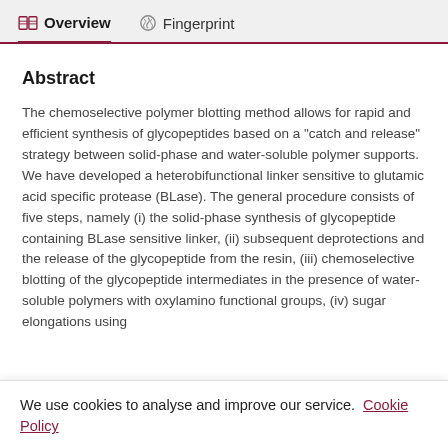Overview  Fingerprint
Abstract
The chemoselective polymer blotting method allows for rapid and efficient synthesis of glycopeptides based on a "catch and release" strategy between solid-phase and water-soluble polymer supports. We have developed a heterobifunctional linker sensitive to glutamic acid specific protease (BLase). The general procedure consists of five steps, namely (i) the solid-phase synthesis of glycopeptide containing BLase sensitive linker, (ii) subsequent deprotections and the release of the glycopeptide from the resin, (iii) chemoselective blotting of the glycopeptide intermediates in the presence of water-soluble polymers with oxylamino functional groups, (iv) sugar elongations using
We use cookies to analyse and improve our service. Cookie Policy